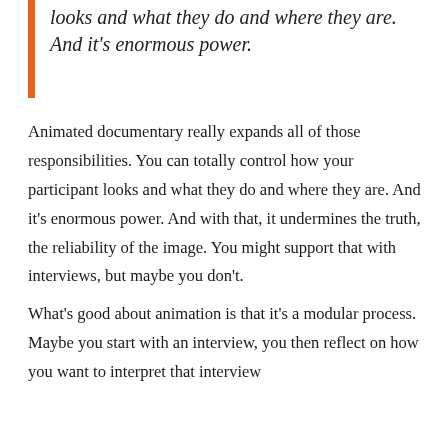looks and what they do and where they are. And it's enormous power.
Animated documentary really expands all of those responsibilities. You can totally control how your participant looks and what they do and where they are. And it's enormous power. And with that, it undermines the truth, the reliability of the image. You might support that with interviews, but maybe you don't.
What's good about animation is that it's a modular process. Maybe you start with an interview, you then reflect on how you want to interpret that interview